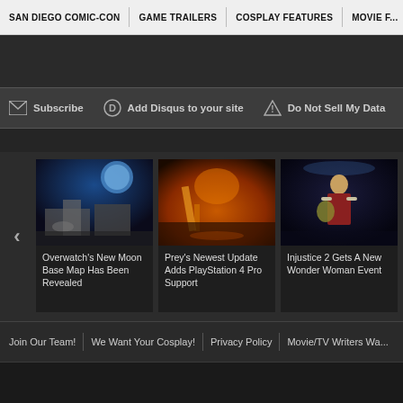SAN DIEGO COMIC-CON | GAME TRAILERS | COSPLAY FEATURES | MOVIE F...
Subscribe   Add Disqus to your site   Do Not Sell My Data
[Figure (screenshot): Thumbnail image for Overwatch's New Moon Base Map - sci-fi scene with moon and structures]
Overwatch's New Moon Base Map Has Been Revealed
[Figure (screenshot): Thumbnail for Prey's Newest Update - fiery action game scene]
Prey's Newest Update Adds PlayStation 4 Pro Support
[Figure (screenshot): Thumbnail for Injustice 2 - Wonder Woman character in action]
Injustice 2 Gets A New Wonder Woman Event
[Figure (screenshot): Thumbnail for Sonic Mania - Sonic character with colorful background]
Sonic Man... Officially G... Release D... New Traile...
Join Our Team!   We Want Your Cosplay!   Privacy Policy   Movie/TV Writers Wa...